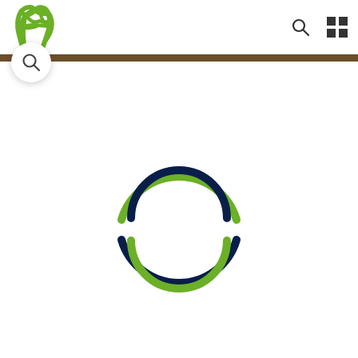[Figure (logo): Green stylized leaf/plant logo in top left corner of navigation header]
[Figure (other): Search icon (magnifying glass) in top right of header]
[Figure (other): Grid/apps icon (2x2 squares) in top right of header]
[Figure (other): Brown horizontal bar separator below header]
[Figure (other): Search icon in white circle/bubble overlapping the brown bar on the left]
[Figure (other): Loading spinner animation consisting of two arc shapes - upper arc with green outer and dark navy inner curve, lower arc with dark navy outer and green inner curve, indicating page content is loading]